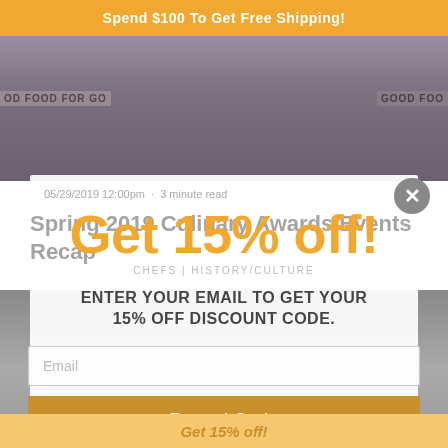Spend $100 To Get Free Shipping!
[Figure (photo): Background photo of people at a culinary event, with 'GOOD FOOD FOR GO...' watermark text on left and 'GOOD FOO' on right]
05/29/2019 12:00pm · 3 minute read
Spring 2019 Culinary Awards Events Recap
Get 15% off!
CHEFS | HISTORY/CULTURE
ENTER YOUR EMAIL TO GET YOUR 15% OFF DISCOUNT CODE.
Email
Reveal Code
* By completing this form you are signing up to receive our emails and can unsubscribe at any time.
Get 15% off!